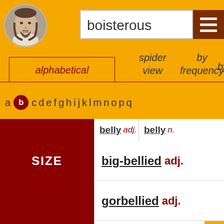[Figure (illustration): Portrait of Shakespeare in circular frame]
boisterous
alphabetical
spider view
by frequency by
a b c d e f g h i j k l m n o p q
belly adj. belly n.
SIZE
big-bellied adj.
gorbellied adj.